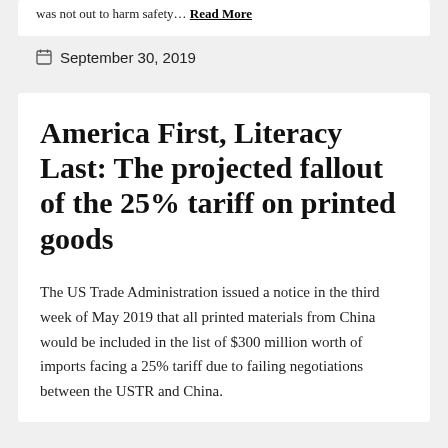was not out to harm safety… Read More
September 30, 2019
America First, Literacy Last: The projected fallout of the 25% tariff on printed goods
The US Trade Administration issued a notice in the third week of May 2019 that all printed materials from China would be included in the list of $300 million worth of imports facing a 25% tariff due to failing negotiations between the USTR and China.